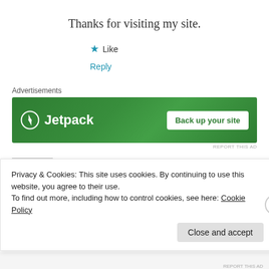Thanks for visiting my site.
★ Like
Reply
Advertisements
[Figure (infographic): Jetpack advertisement banner with green background, Jetpack logo on the left and 'Back up your site' button on the right]
REPORT THIS AD
business marketing
January 31, 2017 at 5:01 am
Privacy & Cookies: This site uses cookies. By continuing to use this website, you agree to their use. To find out more, including how to control cookies, see here: Cookie Policy
Close and accept